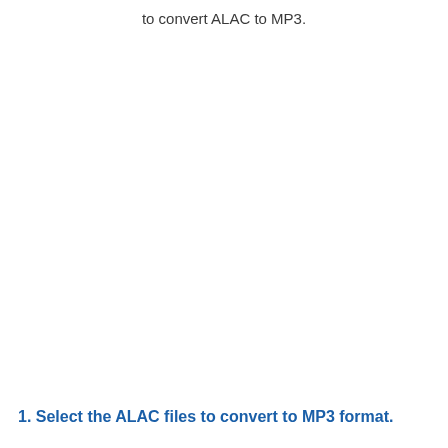to convert ALAC to MP3.
1. Select the ALAC files to convert to MP3 format.